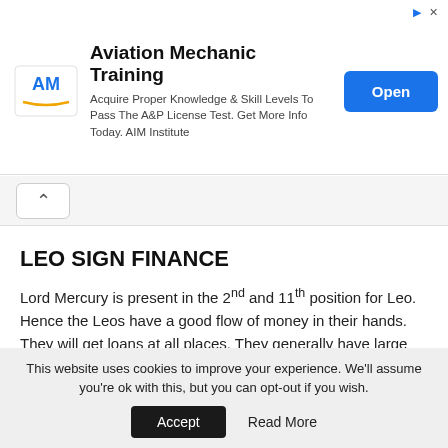[Figure (logo): Aviation Mechanic Training advertisement banner with AM logo, text about A&P license, and Open button]
LEO SIGN FINANCE
Lord Mercury is present in the 2nd and 11th position for Leo. Hence the Leos have a good flow of money in their hands. They will get loans at all places. They generally have large savings and have land or jewelry in their hands always. Whatever money comes their way, they use it to help others too. Hence money keeps flowing in and away from their hands.
This website uses cookies to improve your experience. We'll assume you're ok with this, but you can opt-out if you wish.